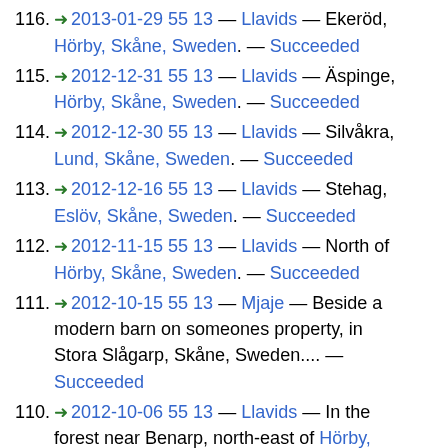116. ➜ 2013-01-29 55 13 — Llavids — Ekeröd, Hörby, Skåne, Sweden. — Succeeded
115. ➜ 2012-12-31 55 13 — Llavids — Äspinge, Hörby, Skåne, Sweden. — Succeeded
114. ➜ 2012-12-30 55 13 — Llavids — Silvåkra, Lund, Skåne, Sweden. — Succeeded
113. ➜ 2012-12-16 55 13 — Llavids — Stehag, Eslöv, Skåne, Sweden. — Succeeded
112. ➜ 2012-11-15 55 13 — Llavids — North of Hörby, Skåne, Sweden. — Succeeded
111. ➜ 2012-10-15 55 13 — Mjaje — Beside a modern barn on someones property, in Stora Slågarp, Skåne, Sweden.... — Succeeded
110. ➜ 2012-10-06 55 13 — Llavids — In the forest near Benarp, north-east of Hörby,